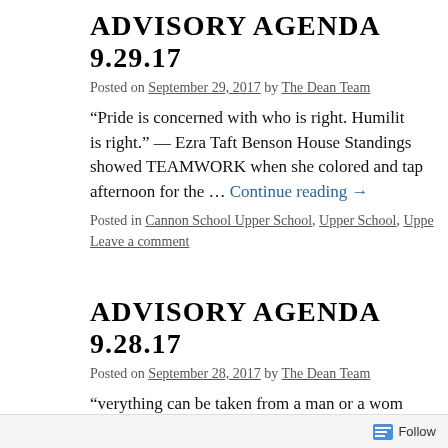ADVISORY AGENDA 9.29.17
Posted on September 29, 2017 by The Dean Team
“Pride is concerned with who is right. Humility is right.” — Ezra Taft Benson House Standings showed TEAMWORK when she colored and tap afternoon for the … Continue reading →
Posted in Cannon School Upper School, Upper School, Uppe Leave a comment
ADVISORY AGENDA 9.28.17
Posted on September 28, 2017 by The Dean Team
“verything can be taken from a man or a wom of human freedoms —to choose one’s attitude circumstances, to choose one’s own way.”— Vi Standings 502 411 410 … Continue reading →
Follow